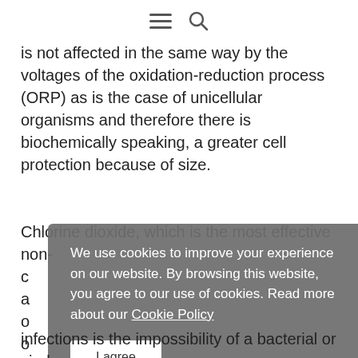[hamburger menu icon] [search icon]
is not affected in the same way by the voltages of the oxidation-reduction process (ORP) as is the case of unicellular organisms and therefore there is biochemically speaking, a greater cell protection because of size.
Chlorine dioxide, which is the most effective non-c a o o d p
We use cookies to improve your experience on our website. By browsing this website, you agree to our use of cookies. Read more about our Cookie Policy
I agree
infections is the impossibility of a bacterial or viral